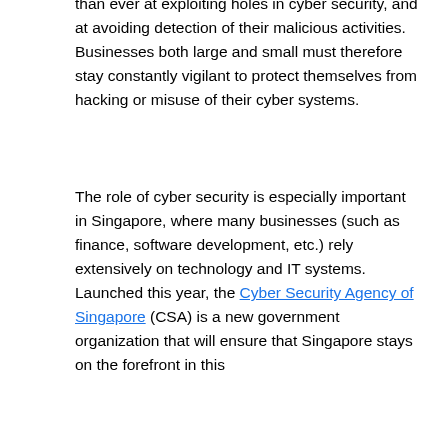than ever at exploiting holes in cyber security, and at avoiding detection of their malicious activities. Businesses both large and small must therefore stay constantly vigilant to protect themselves from hacking or misuse of their cyber systems.
The role of cyber security is especially important in Singapore, where many businesses (such as finance, software development, etc.) rely extensively on technology and IT systems. Launched this year, the Cyber Security Agency of Singapore (CSA) is a new government organization that will ensure that Singapore stays on the forefront in this